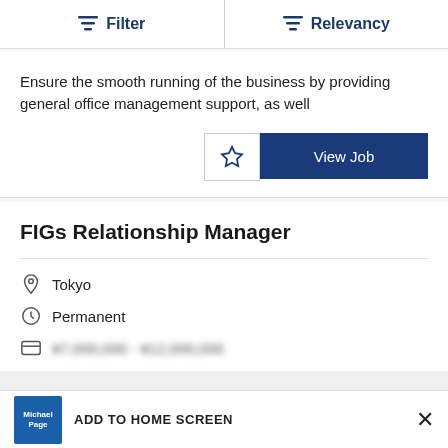Filter | Relevancy
Ensure the smooth running of the business by providing general office management support, as well
View Job
FIGs Relationship Manager
Tokyo
Permanent
¥7,000,000 - ¥12,000,000
ADD TO HOME SCREEN